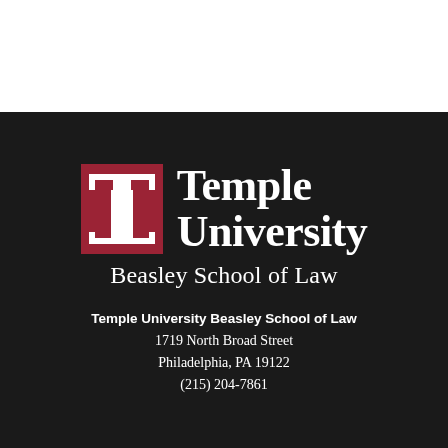[Figure (logo): Temple University Beasley School of Law logo on dark background with red T icon and white text]
Temple University Beasley School of Law
1719 North Broad Street
Philadelphia, PA 19122
(215) 204-7861